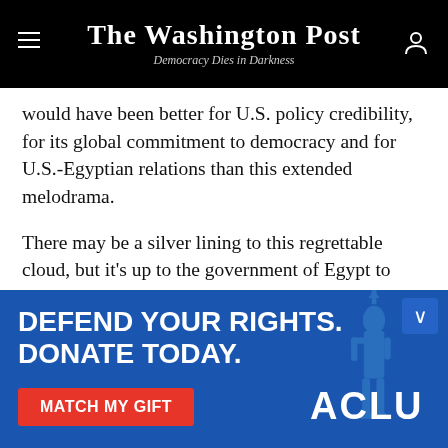The Washington Post — Democracy Dies in Darkness
would have been better for U.S. policy credibility, for its global commitment to democracy and for U.S.-Egyptian relations than this extended melodrama.
There may be a silver lining to this regrettable cloud, but it's up to the government of Egypt to find it. The president of the United States has just paid a real price – in policy credibility, in prestige and in legacy – to address Cairo's greatest grievance against the United
[Figure (infographic): ACLU advertisement banner with blue background. Text reads: DEFEND YOUR RIGHTS. DONATE TODAY. Red button: MATCH MY GIFT. ACLU logo. Statue of Liberty silhouette on right side.]